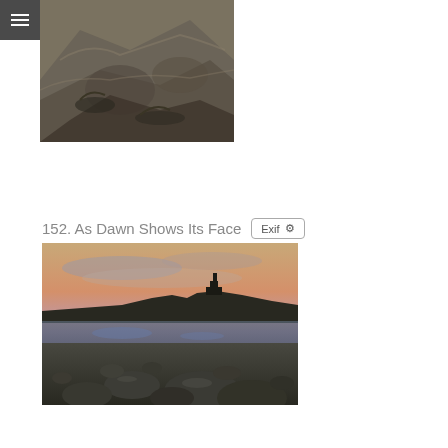[Figure (photo): Close-up photograph of rocky coastal surface with seaweed and wet stone textures in muted grey-brown tones]
152. As Dawn Shows Its Face
[Figure (photo): Coastal landscape photograph at dawn showing a rocky beach with rounded stones in the foreground, reflective tide pools, a silhouetted castle or tower structure on a headland in the middle distance, and a purple-pink sunrise sky with clouds]